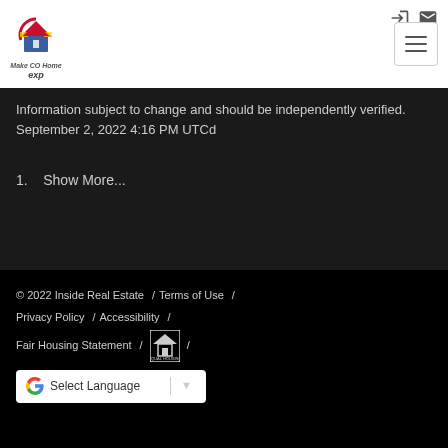[Figure (logo): Make CO Home logo with Colorado flag colors and eXp branding]
Information subject to change and should be independently verified. September 2, 2022 4:16 PM UTCd
1.   Show More...
© 2022 Inside Real Estate  /  Terms of Use  /  Privacy Policy  /  Accessibility  /  Fair Housing Statement  /  [Equal Housing Logo]  /  Select Language